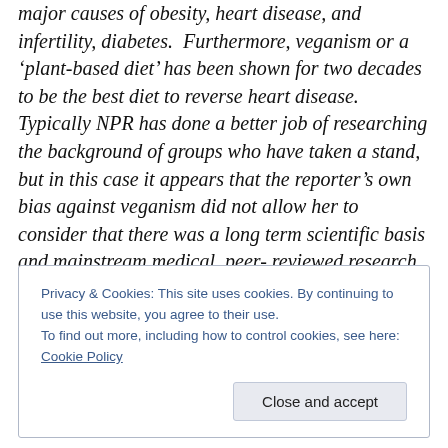major causes of obesity, heart disease, and infertility, diabetes. Furthermore, veganism or a 'plant-based diet' has been shown for two decades to be the best diet to reverse heart disease. Typically NPR has done a better job of researching the background of groups who have taken a stand, but in this case it appears that the reporter's own bias against veganism did not allow her to consider that there was a long term scientific basis and mainstream medical, peer-reviewed research in support of the statements that PRM is making most of which is funded and published by
Privacy & Cookies: This site uses cookies. By continuing to use this website, you agree to their use. To find out more, including how to control cookies, see here: Cookie Policy